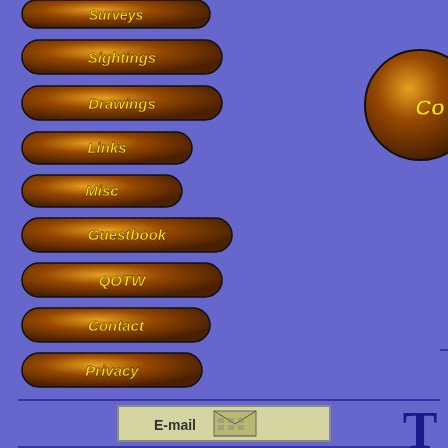[Figure (screenshot): Navigation sidebar with pill-shaped orange/gold buttons: Surveys, Sightings, Drawings, Links, Misc, Guestbook, QOTW, Contact, Privacy on a blue/purple background]
[Figure (screenshot): E-mail button with envelope icon, Google logo with search box and radio buttons for www and www.deeker.com, a partially visible green circle, and right-side panel showing 'Co' button, Title/No Updates table, and partial 'Thi' text]